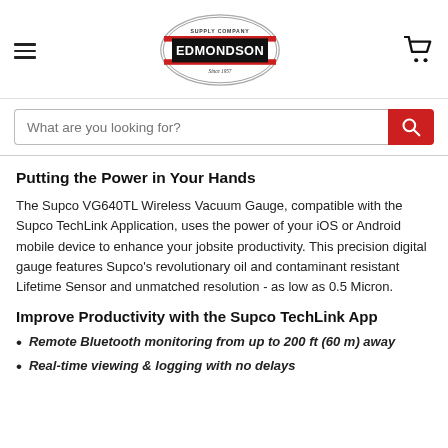[Figure (logo): Edmondson Supply Company logo — oval shape with 'SUPPLY COMPANY' at top, bold 'EDMONDSON' in center, red background band, 'Since 1957' at bottom]
Putting the Power in Your Hands
The Supco VG640TL Wireless Vacuum Gauge, compatible with the Supco TechLink Application, uses the power of your iOS or Android mobile device to enhance your jobsite productivity. This precision digital gauge features Supco's revolutionary oil and contaminant resistant Lifetime Sensor and unmatched resolution - as low as 0.5 Micron.
Improve Productivity with the Supco TechLink App
Remote Bluetooth monitoring from up to 200 ft (60 m) away
Real-time viewing & logging with no delays